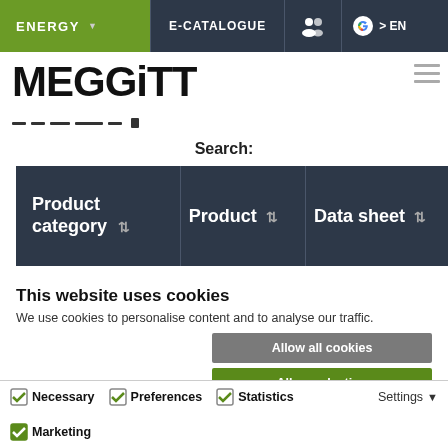[Figure (screenshot): Meggitt website navigation bar with ENERGY tab (green), E-CATALOGUE, user icon, Google icon, and EN language selector]
[Figure (logo): MEGGiTT company logo in bold black text]
Search:
| Product category | Product | Data sheet |
| --- | --- | --- |
This website uses cookies
We use cookies to personalise content and to analyse our traffic.
Allow all cookies
Allow selection
Use necessary cookies only
Necessary  Preferences  Statistics  Marketing
Settings